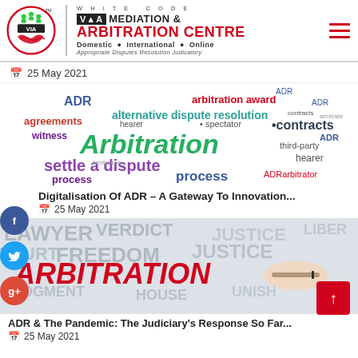[Figure (logo): White Code VIA Mediation & Arbitration Centre logo with circular emblem showing handshake and people, text: WHITE CODE VIA MEDIATION & ARBITRATION CENTRE, Domestic International Online, Appropriate Disputes Resolution Judicatory]
25 May 2021
[Figure (illustration): Word cloud illustration featuring arbitration-related terms: Arbitration (largest, green), alternative dispute resolution, arbitration award, ADR, agreements, contracts, settle a dispute, process, witness, hearer, spectator, third-party, arbitrator]
Digitalisation Of ADR – A Gateway To Innovation...
25 May 2021
[Figure (photo): Photo of a hand signing a document with text ARBITRATION in red letters, background showing legal terms: VERDICT, JUSTICE, FREEDOM, JUDGMENT, LAWYER, COURT, HOUSE in large faded letters]
ADR & The Pandemic: The Judiciary's Response So Far...
25 May 2021